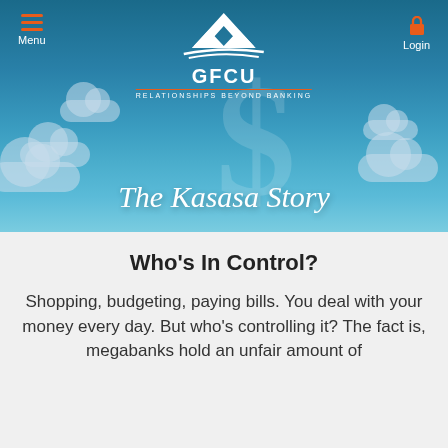[Figure (screenshot): GFCU website header with navigation bar showing hamburger menu (Menu) on left and lock icon (Login) on right, GFCU mountain logo and text in center, hero banner with dollar sign and clouds background, and text 'The Kasasa Story']
Who's In Control?
Shopping, budgeting, paying bills. You deal with your money every day. But who’s controlling it? The fact is, megabanks hold an unfair amount of